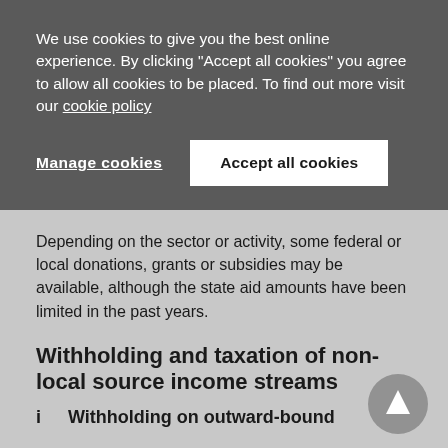We use cookies to give you the best online experience. By clicking "Accept all cookies" you agree to allow all cookies to be placed. To find out more visit our cookie policy
Manage cookies
Accept all cookies
Depending on the sector or activity, some federal or local donations, grants or subsidies may be available, although the state aid amounts have been limited in the past years.
Withholding and taxation of non-local source income streams
i   Withholding on outward-bound